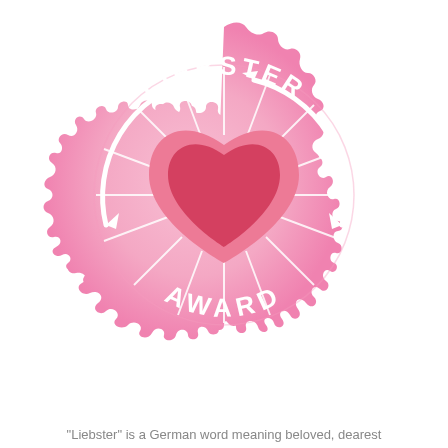[Figure (illustration): Liebster Award badge: a pink scalloped/gear-shaped circular badge with a gradient from darker pink at the outer scallops to lighter pink inner circle. Features white text 'LIEBSTER' arching along the top and 'AWARD' arching along the bottom. Two arrows curve around the circle (left arrow pointing left, right arrow pointing right). Radiating white lines emanate from the center. A large pink heart shape with a darker red-pink inner heart sits at the center.]
"Liebster" is a German word meaning beloved, dearest